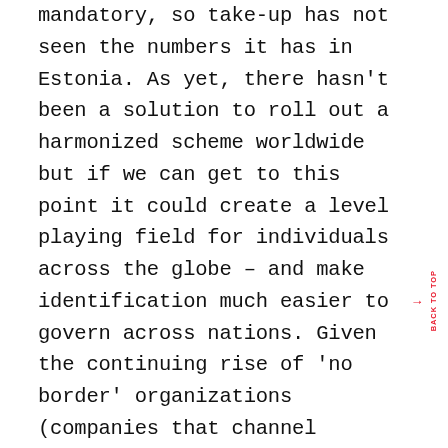mandatory, so take-up has not seen the numbers it has in Estonia. As yet, there hasn't been a solution to roll out a harmonized scheme worldwide but if we can get to this point it could create a level playing field for individuals across the globe – and make identification much easier to govern across nations. Given the continuing rise of 'no border' organizations (companies that channel resources to where they are needed as opposed to where they originate from), this would create better experiences for consumers and colleagues alike.

The issue with ID cards, however, is that changes in tech continue to outpace the